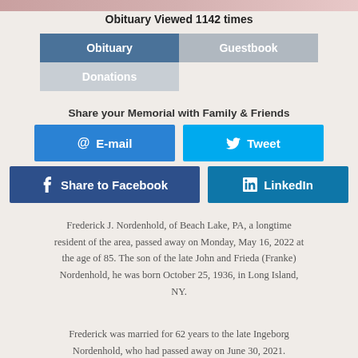Obituary Viewed 1142 times
| Obituary | Guestbook |
| Donations |  |
Share your Memorial with Family & Friends
[Figure (infographic): Social sharing buttons: E-mail, Tweet, Share to Facebook, LinkedIn]
Frederick J. Nordenhold, of Beach Lake, PA, a longtime resident of the area, passed away on Monday, May 16, 2022 at the age of 85. The son of the late John and Frieda (Franke) Nordenhold, he was born October 25, 1936, in Long Island, NY.
Frederick was married for 62 years to the late Ingeborg Nordenhold, who had passed away on June 30, 2021.